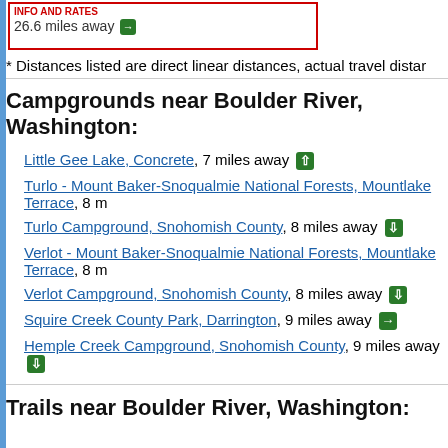26.6 miles away
* Distances listed are direct linear distances, actual travel dista...
Campgrounds near Boulder River, Washington:
Little Gee Lake, Concrete, 7 miles away
Turlo - Mount Baker-Snoqualmie National Forests, Mountlake Terrace, 8 m
Turlo Campground, Snohomish County, 8 miles away
Verlot - Mount Baker-Snoqualmie National Forests, Mountlake Terrace, 8 m
Verlot Campground, Snohomish County, 8 miles away
Squire Creek County Park, Darrington, 9 miles away
Hemple Creek Campground, Snohomish County, 9 miles away
Trails near Boulder River, Washington: